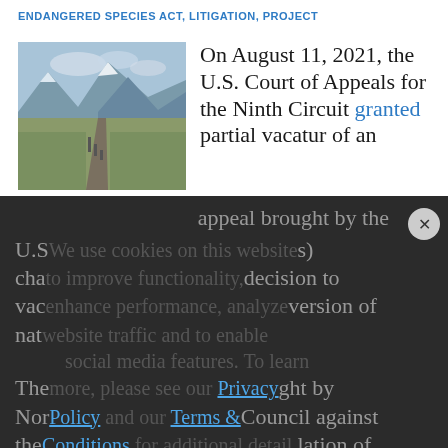ENDANGERED SPECIES ACT, LITIGATION, PROJECT
[Figure (photo): Photograph of a dirt road or pipeline corridor through tundra/arctic landscape with mountains in the background]
On August 11, 2021, the U.S. Court of Appeals for the Ninth Circuit granted partial vacatur of an appeal brought by the U.S. ... decision to vac... version of nat...
We use cookies on this website to improve functionality, to enhance performance, analyze website traffic and to enable social media features. To learn more, please see our Privacy Policy and our Terms & Conditions for additional detail.
The... ght by Nor... Council against the ... lation of impacts to waters of the United States under